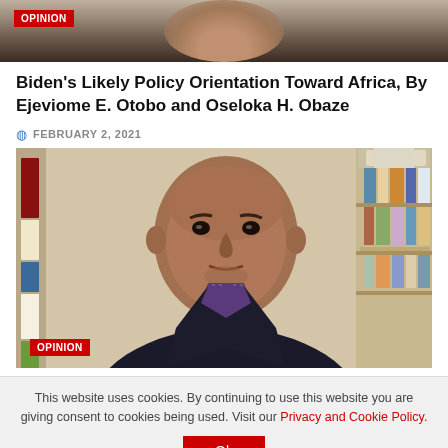[Figure (photo): Top portion of a man's face/head, cropped, with OPINION badge overlay]
Biden's Likely Policy Orientation Toward Africa, By Ejeviome E. Otobo and Oseloka H. Obaze
FEBRUARY 2, 2021
[Figure (photo): Portrait photo of a man in a dark blazer and purple striped shirt, seated in front of a bookshelf. OPINION badge at bottom left.]
This website uses cookies. By continuing to use this website you are giving consent to cookies being used. Visit our Privacy and Cookie Policy.